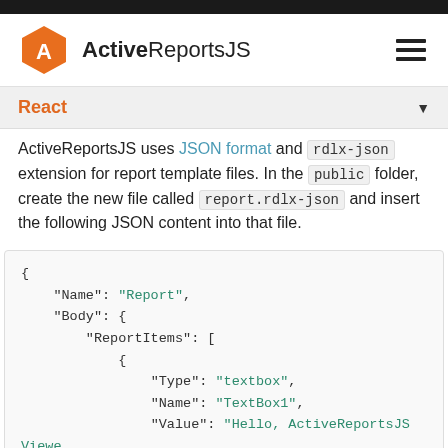ActiveReportsJS
React
ActiveReportsJS uses JSON format and rdlx-json extension for report template files. In the public folder, create the new file called report.rdlx-json and insert the following JSON content into that file.
{ "Name": "Report", "Body": { "ReportItems": [ { "Type": "textbox", "Name": "TextBox1", "Value": "Hello, ActiveReportsJS Viewer", "Style": { "FontSize": "18pt"